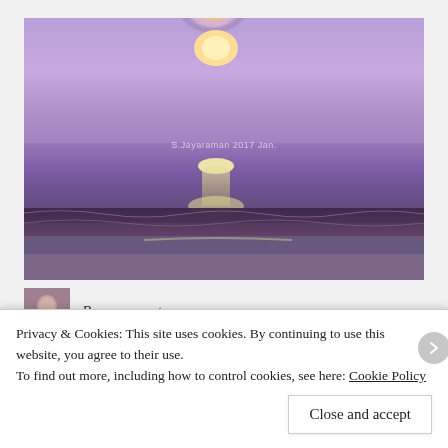[Figure (photo): A beach sunset/sunrise photograph with purple and violet hues dominating the sky and sea. The sun (yellow-orange glow) is visible on the horizon. Ocean waves are visible in the foreground. A watermark reads 'S.Jayaraman 2017 Jan.' in the center of the image.]
By moorezart
Privacy & Cookies: This site uses cookies. By continuing to use this website, you agree to their use.
To find out more, including how to control cookies, see here: Cookie Policy
Close and accept